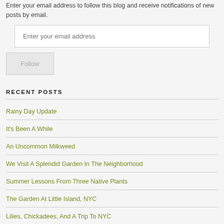Enter your email address to follow this blog and receive notifications of new posts by email.
RECENT POSTS
Rainy Day Update
It's Been A While
An Uncommon Milkweed
We Visit A Splendid Garden In The Neighborhood
Summer Lessons From Three Native Plants
The Garden At Little Island, NYC
Lilies, Chickadees, And A Trip To NYC